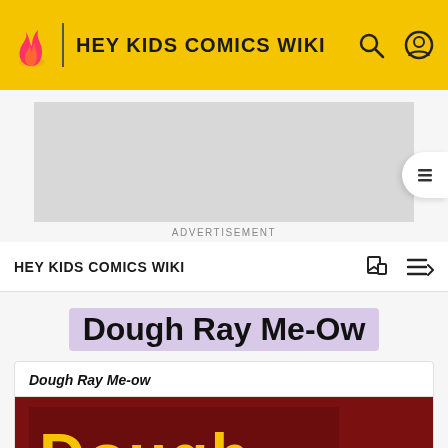HEY KIDS COMICS WIKI
[Figure (screenshot): Advertisement placeholder (grey rectangle)]
ADVERTISEMENT
HEY KIDS COMICS WIKI
Dough Ray Me-Ow
Dough Ray Me-ow
[Figure (illustration): Comic book cover with dark red background and yellow text reading 'Dough']